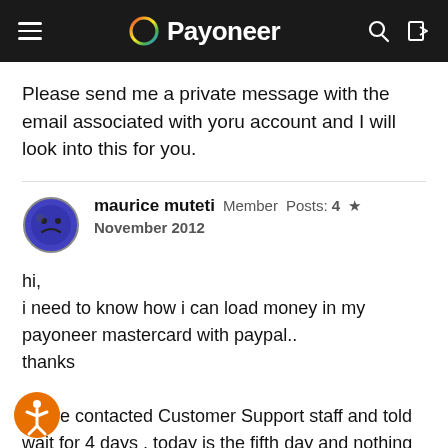Payoneer
Please send me a private message with the email associated with yoru account and I will look into this for you.
maurice muteti  Member  Posts: 4  ★
November 2012
hi,
i need to know how i can load money in my payoneer mastercard with paypal..
thanks

i have contacted Customer Support staff and told wait for 4 days , today is the fifth day and nothing been done … please help !